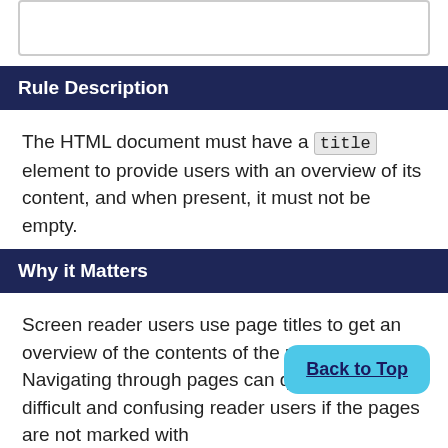[Figure (other): Empty bordered box at top of page]
Rule Description
The HTML document must have a title element to provide users with an overview of its content, and when present, it must not be empty.
Why it Matters
Screen reader users use page titles to get an overview of the contents of the page. Navigating through pages can quickly become difficult and confusing reader users if the pages are not marked with